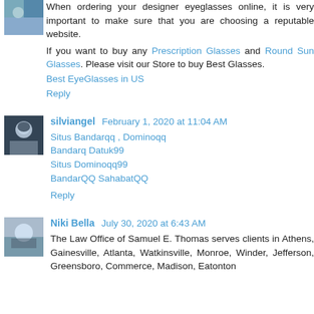[Figure (photo): Small avatar photo of a person, top left corner of first comment]
When ordering your designer eyeglasses online, it is very important to make sure that you are choosing a reputable website.
If you want to buy any Prescription Glasses and Round Sun Glasses. Please visit our Store to buy Best Glasses.
Best EyeGlasses in US
Reply
[Figure (photo): Small avatar photo of silviangel]
silviangel February 1, 2020 at 11:04 AM
Situs Bandarqq , Dominoqq
Bandarq Datuk99
Situs Dominoqq99
BandarQQ SahabatQQ
Reply
[Figure (photo): Small avatar photo of Niki Bella]
Niki Bella July 30, 2020 at 6:43 AM
The Law Office of Samuel E. Thomas serves clients in Athens, Gainesville, Atlanta, Watkinsville, Monroe, Winder, Jefferson, Greensboro, Commerce, Madison, Eatonton